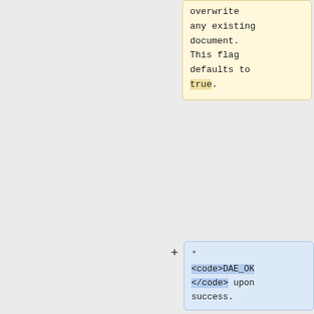overwrite any existing document. This flag defaults to true.
* <code>DAE_OK</code> upon success.
* <code>DAE_ERR_COLLECTION_DOES_NOT_EXIST</code> if the document does not exist in the runtime